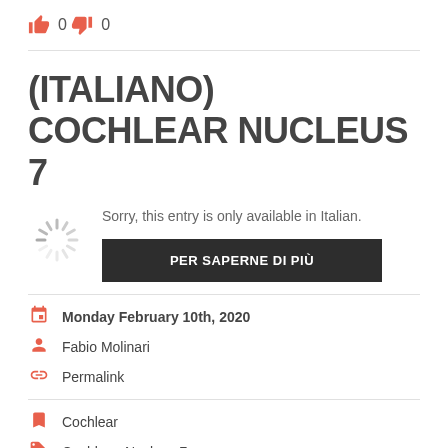[Figure (other): Thumbs up icon with count 0]
[Figure (other): Thumbs down icon with count 0]
(ITALIANO) COCHLEAR NUCLEUS 7
[Figure (other): Loading spinner icon]
Sorry, this entry is only available in Italian.
PER SAPERNE DI PIÙ
Monday February 10th, 2020
Fabio Molinari
Permalink
Cochlear
Cochlear, Nucleus 7